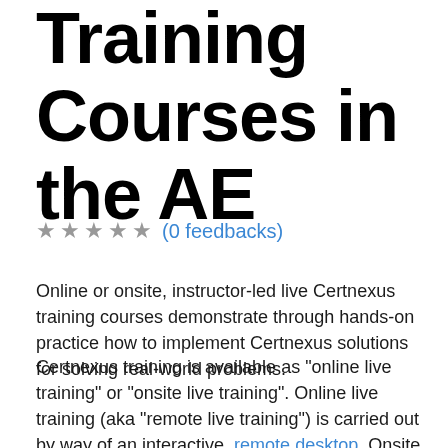Training Courses in the AE
★ ★ ★ ★ ★ (0 feedbacks)
Online or onsite, instructor-led live Certnexus training courses demonstrate through hands-on practice how to implement Certnexus solutions for solving real-world problems.
Certnexus training is available as "online live training" or "onsite live training". Online live training (aka "remote live training") is carried out by way of an interactive, remote desktop. Onsite live training can be carried out locally on customer premises in AE or in Abu Dhabi, or any location in the region in AE.